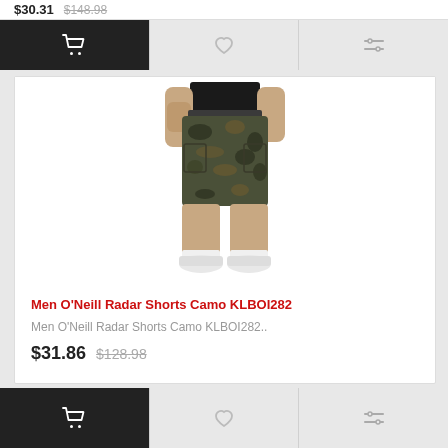$30.31  $148.98
[Figure (screenshot): Top action bar with cart (dark), wishlist (heart), and compare (lines) buttons]
[Figure (photo): Man wearing camouflage cargo shorts (Men O'Neill Radar Shorts Camo KLBOI282), black t-shirt, white shoes]
Men O'Neill Radar Shorts Camo KLBOI282
Men O'Neill Radar Shorts Camo KLBOI282..
$31.86  $128.98
[Figure (screenshot): Bottom action bar with cart (dark), wishlist (heart), and compare (lines) buttons]